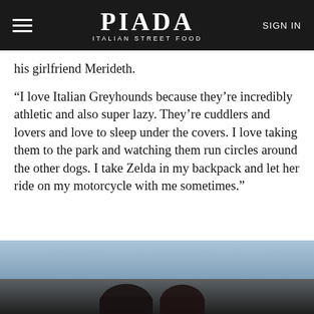PIADA ITALIAN STREET FOOD | SIGN IN
his girlfriend Merideth.
“I love Italian Greyhounds because they’re incredibly athletic and also super lazy. They’re cuddlers and lovers and love to sleep under the covers. I love taking them to the park and watching them run circles around the other dogs. I take Zelda in my backpack and let her ride on my motorcycle with me sometimes.”
[Figure (photo): Photo of a dog, partially visible at the bottom of the page against a blue sky background]